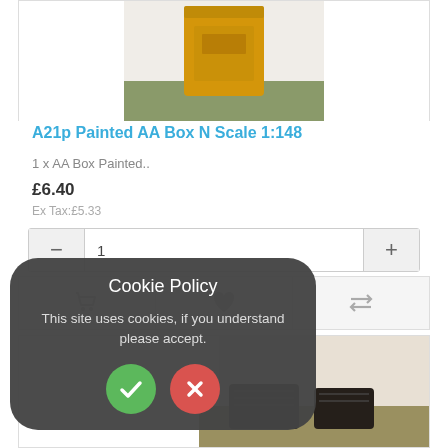[Figure (photo): Photo of a yellow painted AA Box model in N Scale 1:148, photographed on a textured green surface]
A21p Painted AA Box N Scale 1:148
1 x AA Box Painted..
£6.40
Ex Tax:£5.33
Cookie Policy
This site uses cookies, if you understand please accept.
[Figure (photo): Photo of small dark painted model accessories on a textured surface]